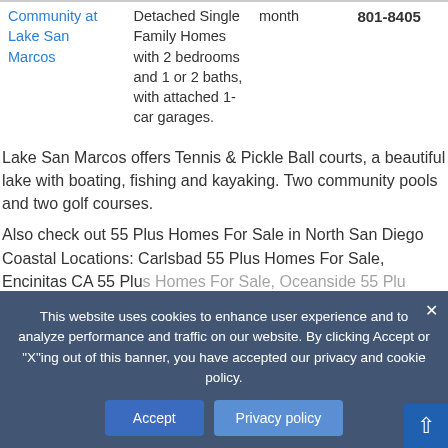| Community | Type | Price | Phone |
| --- | --- | --- | --- |
| Community at Lake San Marcos | Detached Single Family Homes with 2 bedrooms and 1 or 2 baths, with attached 1-car garages. | month | 801-8405 |
Lake San Marcos offers Tennis & Pickle Ball courts, a beautiful lake with boating, fishing and kayaking. Two community pools and two golf courses.
Also check out 55 Plus Homes For Sale in North San Diego Coastal Locations: Carlsbad 55 Plus Homes For Sale, Encinitas CA 55 Plus Homes For Sale, Oceanside 55 Plus Homes For Sale, and City of San Diego CA 55 Plus Homes...
This website uses cookies to enhance user experience and to analyze performance and traffic on our website. By clicking Accept or "X"ing out of this banner, you have accepted our privacy and cookie policy.